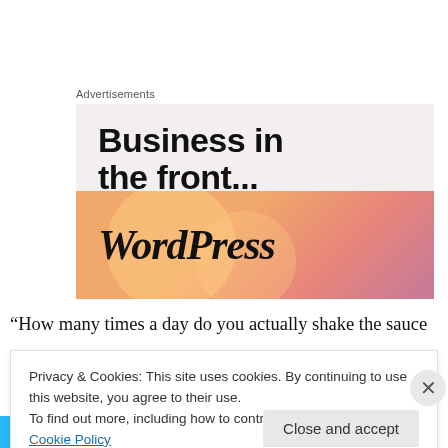Advertisements
[Figure (illustration): WordPress advertisement banner with 'Business in the front...' text on light beige background, and a gradient orange-pink banner with 'WordPress' in italic bold text and partial letters visible at the bottom.]
“How many times a day do you actually shake the sauce
Privacy & Cookies: This site uses cookies. By continuing to use this website, you agree to their use.
To find out more, including how to control cookies, see here: Cookie Policy
Close and accept